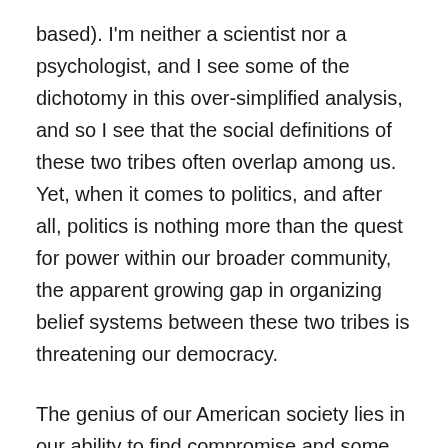based). I'm neither a scientist nor a psychologist, and I see some of the dichotomy in this over-simplified analysis, and so I see that the social definitions of these two tribes often overlap among us.  Yet, when it comes to politics, and after all, politics is nothing more than the quest for power within our broader community, the apparent growing gap in organizing belief systems between these two tribes is threatening our democracy.
The genius of our American society lies in our ability to find compromise and some sense of fairness between our varied personal belief systems, and then move forward as a people, individually and together. That is our democracy. And it is in trouble. The answer: we must rationalize the past, as we remember it, in light with what we know to be the truth, today.